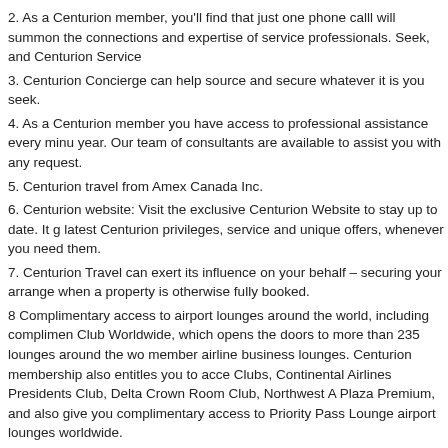2. As a Centurion member, you'll find that just one phone calll will summon the connections and expertise of service professionals. Seek, and Centurion Service
3. Centurion Concierge can help source and secure whatever it is you seek.
4. As a Centurion member you have access to professional assistance every minu year. Our team of consultants are available to assist you with any request.
5. Centurion travel from Amex Canada Inc.
6. Centurion website: Visit the exclusive Centurion Website to stay up to date. It g latest Centurion privileges, service and unique offers, whenever you need them.
7. Centurion Travel can exert its influence on your behalf – securing your arrange when a property is otherwise fully booked.
8 Complimentary access to airport lounges around the world, including complimen Club Worldwide, which opens the doors to more than 235 lounges around the wo member airline business lounges. Centurion membership also entitles you to acce Clubs, Continental Airlines Presidents Club, Delta Crown Room Club, Northwest A Plaza Premium, and also give you complimentary access to Priority Pass Lounge airport lounges worldwide.
9. Hotel Privileges, complimentary room upgrade at check-in, complimentary cont additioanl special amenities at over 600 of the worlds most glorious properties in e Raffles Hotels and Resorts, Ritz-Carlton Hotels, Mandarin Oriental to name just a at reservation to more than 440 boutique hotels around the world.
Centurion members receive complimentary Elite Statu memberships such as Fai Platinum , Starwood Preferred Gold, Hilton HHonours, Relais and Chateaux and C Hotels S...